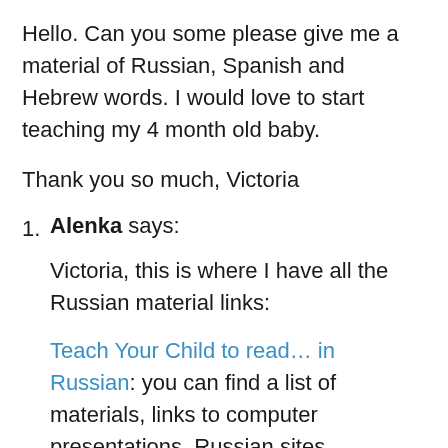Hello. Can you some please give me a material of Russian, Spanish and Hebrew words. I would love to start teaching my 4 month old baby.
Thank you so much, Victoria
Alenka says:
Victoria, this is where I have all the Russian material links:
Teach Your Child to read… in Russian: you can find a list of materials, links to computer presentations, Russian sites